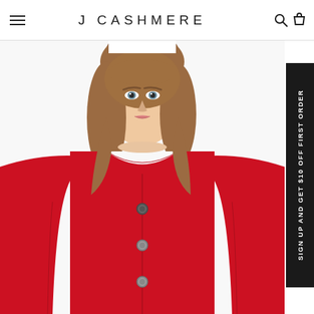J CASHMERE
[Figure (photo): A woman with blonde hair wearing a red cashmere button-front cardigan, photographed from the waist up against a white background, looking directly at the camera.]
SIGN UP AND GET $10 OFF FIRST ORDER